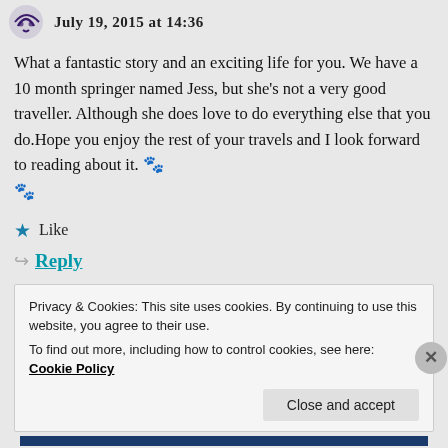July 19, 2015 at 14:36
What a fantastic story and an exciting life for you. We have a 10 month springer named Jess, but she's not a very good traveller. Although she does love to do everything else that you do.Hope you enjoy the rest of your travels and I look forward to reading about it. 🐾 🐾
★ Like
↪ Reply
Privacy & Cookies: This site uses cookies. By continuing to use this website, you agree to their use.
To find out more, including how to control cookies, see here: Cookie Policy
Close and accept